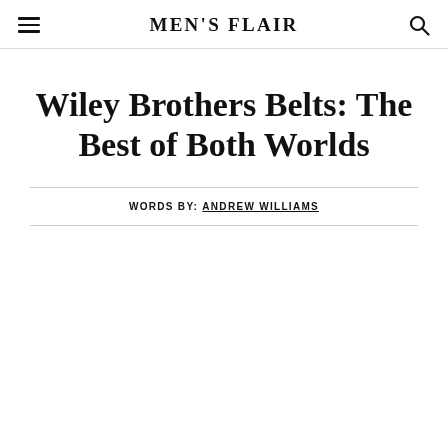MEN'S FLAIR
Wiley Brothers Belts: The Best of Both Worlds
WORDS BY: ANDREW WILLIAMS